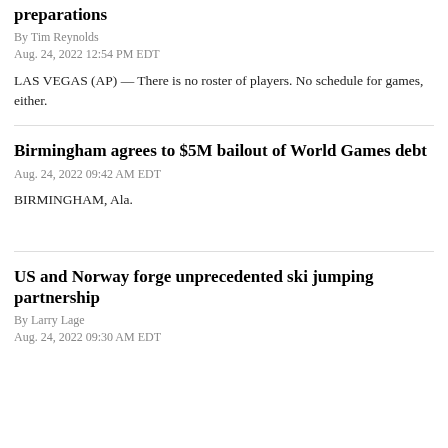preparations
By Tim Reynolds
Aug. 24, 2022 12:54 PM EDT
LAS VEGAS (AP) — There is no roster of players. No schedule for games, either.
Birmingham agrees to $5M bailout of World Games debt
Aug. 24, 2022 09:42 AM EDT
BIRMINGHAM, Ala.
US and Norway forge unprecedented ski jumping partnership
By Larry Lage
Aug. 24, 2022 09:30 AM EDT